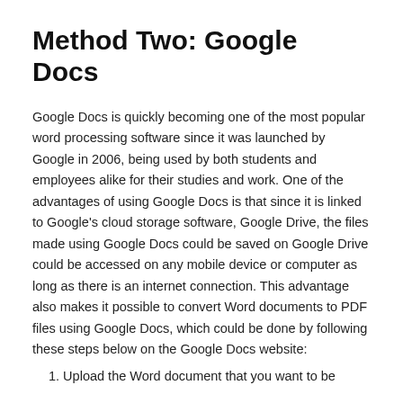Method Two: Google Docs
Google Docs is quickly becoming one of the most popular word processing software since it was launched by Google in 2006, being used by both students and employees alike for their studies and work. One of the advantages of using Google Docs is that since it is linked to Google's cloud storage software, Google Drive, the files made using Google Docs could be saved on Google Drive could be accessed on any mobile device or computer as long as there is an internet connection. This advantage also makes it possible to convert Word documents to PDF files using Google Docs, which could be done by following these steps below on the Google Docs website:
1. Upload the Word document that you want to be